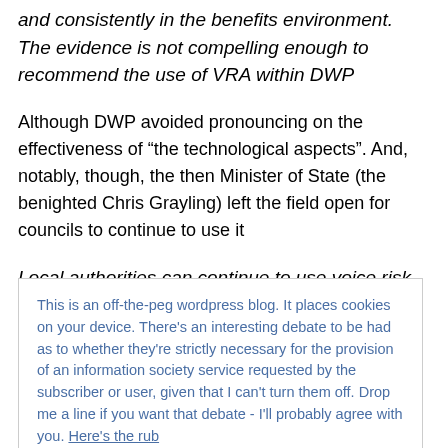and consistently in the benefits environment. The evidence is not compelling enough to recommend the use of VRA within DWP
Although DWP avoided pronouncing on the effectiveness of “the technological aspects”. And, notably, though, the then Minister of State (the benighted Chris Grayling) left the field open for councils to continue to use it
Local authorities can continue to use voice risk analysis at their own discretion and at their own expense
This is an off-the-peg wordpress blog. It places cookies on your device. There's an interesting debate to be had as to whether they're strictly necessary for the provision of an information society service requested by the subscriber or user, given that I can't turn them off. Drop me a line if you want that debate - I'll probably agree with you. Here's the rub
week, why are councils using it? The information divulged